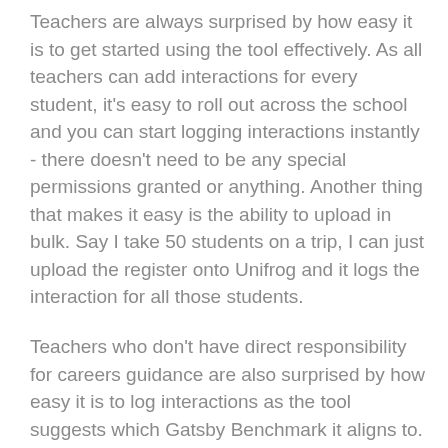Teachers are always surprised by how easy it is to get started using the tool effectively. As all teachers can add interactions for every student, it's easy to roll out across the school and you can start logging interactions instantly - there doesn't need to be any special permissions granted or anything. Another thing that makes it easy is the ability to upload in bulk. Say I take 50 students on a trip, I can just upload the register onto Unifrog and it logs the interaction for all those students.
Teachers who don't have direct responsibility for careers guidance are also surprised by how easy it is to log interactions as the tool suggests which Gatsby Benchmark it aligns to. For example, if you log a trip to a workplace, the tool will suggest you link this to Benchmarks 5 and 6.
What the d...